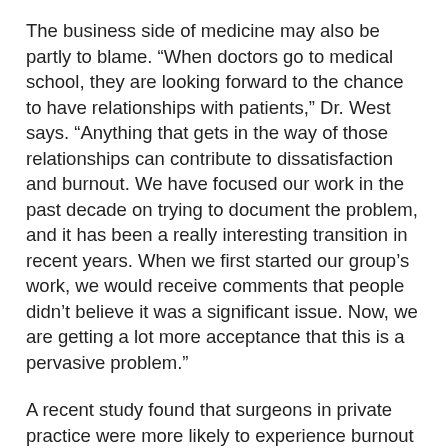The business side of medicine may also be partly to blame. “When doctors go to medical school, they are looking forward to the chance to have relationships with patients,” Dr. West says. “Anything that gets in the way of those relationships can contribute to dissatisfaction and burnout. We have focused our work in the past decade on trying to document the problem, and it has been a really interesting transition in recent years. When we first started our group’s work, we would receive comments that people didn’t believe it was a significant issue. Now, we are getting a lot more acceptance that this is a pervasive problem.”
A recent study found that surgeons in private practice were more likely to experience burnout than their colleagues in academic practice.2 The study compared distress parameters and career satisfaction from survey results of surgeons in 14 specialties. It found that academic surgeons were less likely to screen positive for depression or to have suicide ideation. They were also more likely to experience